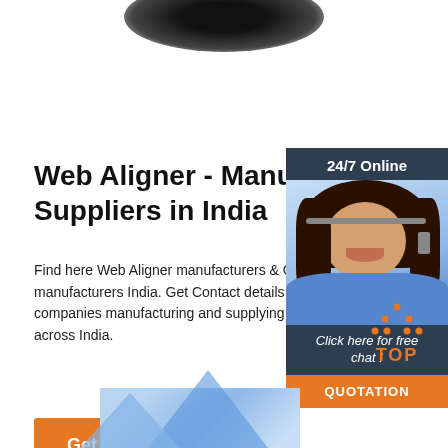[Figure (photo): Dark oval product image (web aligner device) partially visible at top of page]
Web Aligner - Manufacturers & Suppliers in India
Find here Web Aligner manufacturers & OEM manufacturers India. Get Contact details & address of companies manufacturing and supplying Web Aligner across India.
[Figure (photo): Customer service representative with headset, 24/7 Online support banner, with 'Click here for free chat!' text and QUOTATION button in orange]
[Figure (other): Orange dotted triangle TOP icon indicating scroll to top]
[Figure (photo): Bottom partial view of a building/industrial facility]